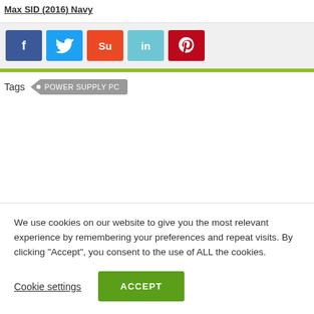Max SID (2016) Navy
[Figure (other): Social sharing buttons: Facebook (blue), Twitter (light blue), StumbleUpon (orange-red), LinkedIn (teal), Pinterest (red)]
Tags  • POWER SUPPLY PC
We use cookies on our website to give you the most relevant experience by remembering your preferences and repeat visits. By clicking "Accept", you consent to the use of ALL the cookies.
Cookie settings  ACCEPT